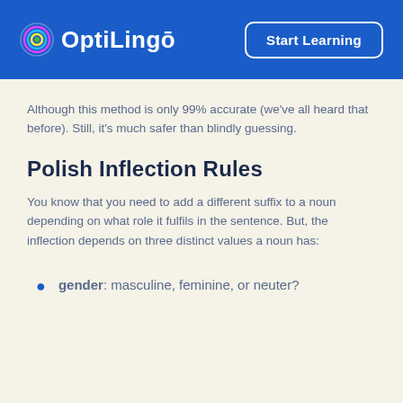[Figure (logo): OptiLingo logo with colorful concentric circle icon and bold white text on blue header, alongside a 'Start Learning' button with white border]
Although this method is only 99% accurate (we've all heard that before). Still, it's much safer than blindly guessing.
Polish Inflection Rules
You know that you need to add a different suffix to a noun depending on what role it fulfils in the sentence. But, the inflection depends on three distinct values a noun has:
gender: masculine, feminine, or neuter?